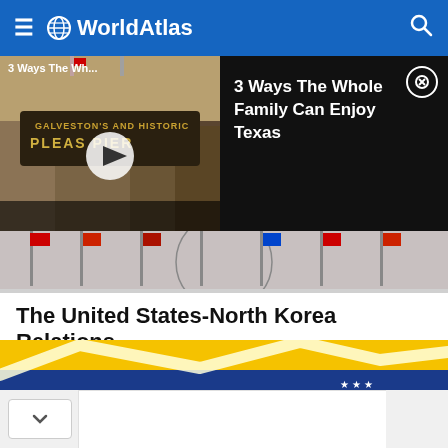WorldAtlas
[Figure (screenshot): Video advertisement thumbnail showing a pier/boardwalk sign labeled 'Pleasure Pier' with play button overlay and text '3 Ways The Wh...']
[Figure (screenshot): Dark ad panel with text '3 Ways The Whole Family Can Enjoy Texas' and close button]
[Figure (photo): Background strip showing flags and decorative elements behind a circular graphic]
The United States-North Korea Relations
[Figure (photo): Article header image showing a flag (yellow and blue, resembling Venezuela or Ukraine flag) with a white zigzag arrow/line chart overlay and stars]
[Figure (screenshot): Bottom collapsed content area with chevron down button and white content panel]